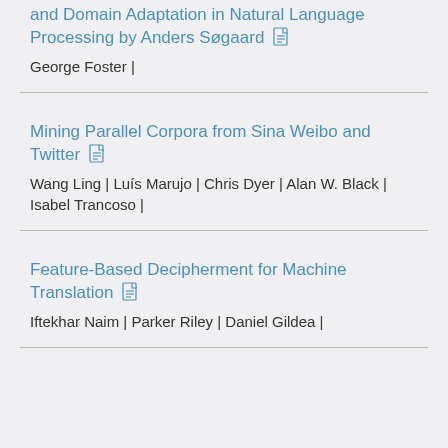and Domain Adaptation in Natural Language Processing by Anders Søgaard
George Foster |
Mining Parallel Corpora from Sina Weibo and Twitter
Wang Ling | Luís Marujo | Chris Dyer | Alan W. Black | Isabel Trancoso |
Feature-Based Decipherment for Machine Translation
Iftekhar Naim | Parker Riley | Daniel Gildea |